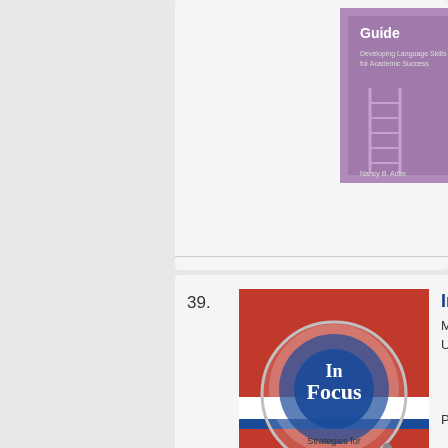[Figure (illustration): Book cover: purple/mauve colored book cover with ladder imagery, partially visible at top of page]
Pap
39. In Focus — Strategies for Academic Writers. My... Use... Pap
[Figure (illustration): Book cover: In Focus - Strategies for Academic Writers by Myra Shulman, red cover with magnifying glass graphic]
Pap
40. Inside Academic Writing. Und... Gra...
[Figure (illustration): Book cover: Inside Academic Writing, dark navy blue cover with paper note graphic]